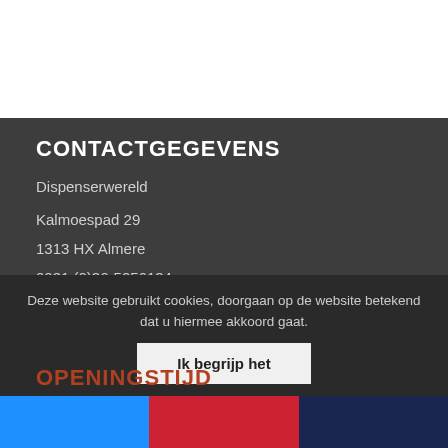CONTACTGEGEVENS
Dispenserwereld
Kalmoespad 29
1313 HX Almere
0031 (0)36-5256134
Email: info@dispenserwereld.nl
Bank:  NL07 KNAB 0258690631
KVK nr: 85979937
BTW nr: NL863815960B01
Deze website gebruikt cookies, doorgaan op de website betekend dat u hiermee akkoord gaat.
Ik begrijp het
OPENINGSTIJD